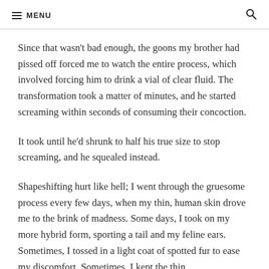MENU
Since that wasn't bad enough, the goons my brother had pissed off forced me to watch the entire process, which involved forcing him to drink a vial of clear fluid. The transformation took a matter of minutes, and he started screaming within seconds of consuming their concoction.
It took until he'd shrunk to half his true size to stop screaming, and he squealed instead.
Shapeshifting hurt like hell; I went through the gruesome process every few days, when my thin, human skin drove me to the brink of madness. Some days, I took on my more hybrid form, sporting a tail and my feline ears. Sometimes, I tossed in a light coat of spotted fur to ease my discomfort. Sometimes, I kept the thin,